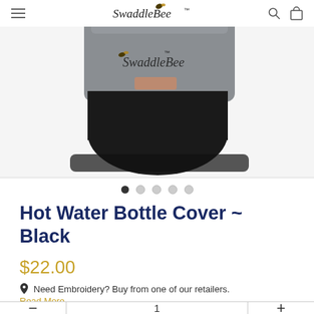SwaddleBee
[Figure (photo): A hot water bottle cover in black and grey fabric with a SwaddleBee logo embroidered on it and a pink/tan label patch, shown against a white background.]
Hot Water Bottle Cover ~ Black
$22.00
Need Embroidery? Buy from one of our retailers.
Read More
1